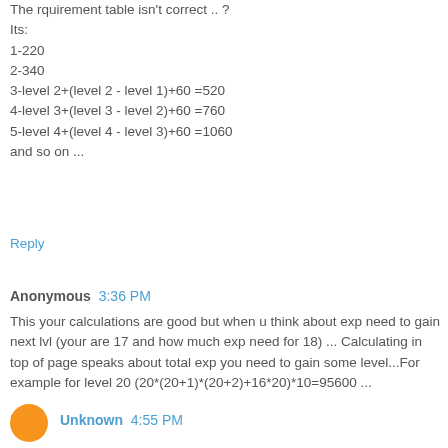The rquirement table isn't correct .. ?
Its:
1-220
2-340
3-level 2+(level 2 - level 1)+60 =520
4-level 3+(level 3 - level 2)+60 =760
5-level 4+(level 4 - level 3)+60 =1060
and so on ...
Reply
Anonymous 3:36 PM
This your calculations are good but when u think about exp need to gain next lvl (your are 17 and how much exp need for 18) ... Calculating in top of page speaks about total exp you need to gain some level...For example for level 20 (20*(20+1)*(20+2)+16*20)*10=95600 ...
Reply
Unknown 4:55 PM